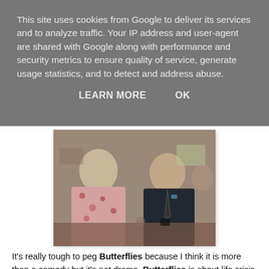This site uses cookies from Google to deliver its services and to analyze traffic. Your IP address and user-agent are shared with Google along with performance and security metrics to ensure quality of service, generate usage statistics, and to detect and address abuse.
LEARN MORE    OK
[Figure (photo): A black and white or muted-color vintage TV still showing two people at a table in conversation — a woman with short blonde hair in a floral dress on the left, and a man in a dark suit with a tie on the right, leaning toward each other.]
It's really tough to peg Butterflies because I think it is more than a comedy but it's not drama. Butterflies is about life crisis. From initial viewing, I think we could say that the life crisis just concerns Ria who is the mother of the family but I think you could